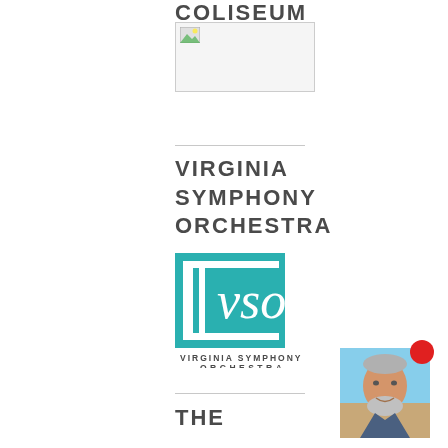COLISEUM
[Figure (photo): Broken/missing image placeholder with small icon]
VIRGINIA SYMPHONY ORCHESTRA
[Figure (logo): Virginia Symphony Orchestra logo — teal square with VSO monogram in white cursive, text VIRGINIA SYMPHONY ORCHESTRA below]
[Figure (photo): Small photo of a man with gray beard, blue sky and water in background]
THE